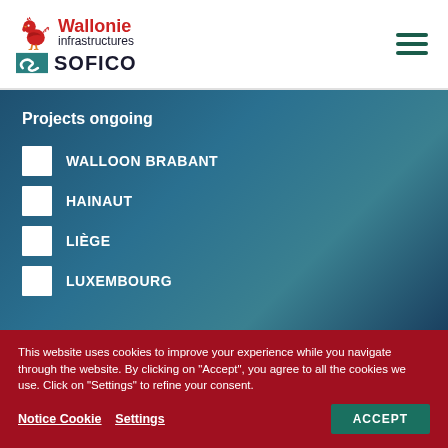[Figure (logo): Wallonie Infrastructures SOFICO logo with red rooster icon and hamburger menu icon on the right]
Projects ongoing
WALLOON BRABANT
HAINAUT
LIÈGE
LUXEMBOURG
This website uses cookies to improve your experience while you navigate through the website. By clicking on "Accept", you agree to all the cookies we use. Click on "Settings" to refine your consent.
Notice Cookie   Settings   ACCEPT